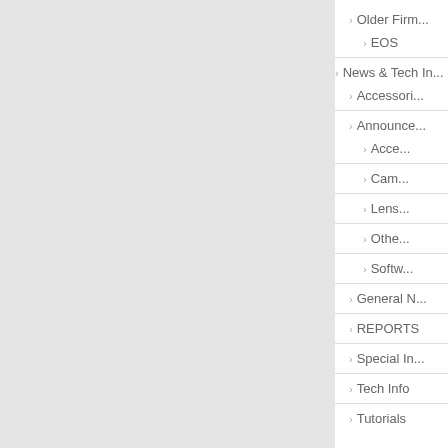Older Firm...
EOS
News & Tech In...
Accessori...
Announce...
Acce...
Cam...
Lens...
Othe...
Softw...
General N...
REPORTS
Special In...
Tech Info
Tutorials